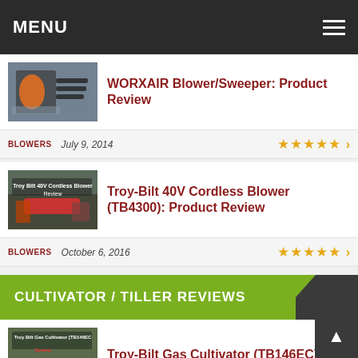MENU
WORXAIR Blower/Sweeper: Product Review
BLOWERS   July 9, 2014   ★★★★★
Troy-Bilt 40V Cordless Blower (TB4300): Product Review
BLOWERS   October 6, 2016   ★★★★★
CULTIVATOR / TILLER REVIEWS
Troy-Bilt Gas Cultivator (TB146EC): Product Review
CULTIVATORS & TILLERS   August 25, 2017   ★★★★★
Sun Joe Lithium Ion 40 volt...